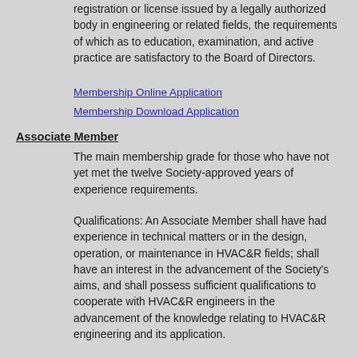registration or license issued by a legally authorized body in engineering or related fields, the requirements of which as to education, examination, and active practice are satisfactory to the Board of Directors.
Membership Online Application
Membership Download Application
Associate Member
The main membership grade for those who have not yet met the twelve Society-approved years of experience requirements.
Qualifications: An Associate Member shall have had experience in technical matters or in the design, operation, or maintenance in HVAC&R fields; shall have an interest in the advancement of the Society's aims, and shall possess sufficient qualifications to cooperate with HVAC&R engineers in the advancement of the knowledge relating to HVAC&R engineering and its application.
To advance from Associate to Member, a